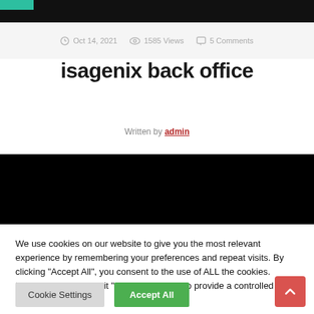Oct 14, 2021   1585 Views   5 Comments
isagenix back office
Written by admin
[Figure (other): Black banner/image area]
We use cookies on our website to give you the most relevant experience by remembering your preferences and repeat visits. By clicking "Accept All", you consent to the use of ALL the cookies. However, you may visit "Cookie Settings" to provide a controlled consent.